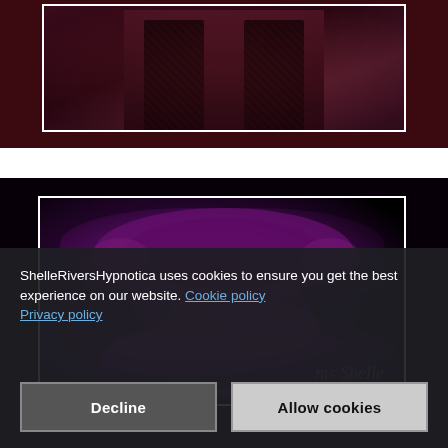[Figure (photo): Dark reddish-brown photo showing legs in black fishnet stockings against a textured background, framed with a white border inside a dark container]
[Figure (photo): Dark photo with purple/magenta tones showing a woman with long blonde hair resting on an ornate Victorian-style headboard, with a script watermark and tagline text 'erotic hypnosis, mp3's, and more...']
ShelleRiversHypnotica uses cookies to ensure you get the best experience on our website. Cookie policy Privacy policy
Decline
Allow cookies